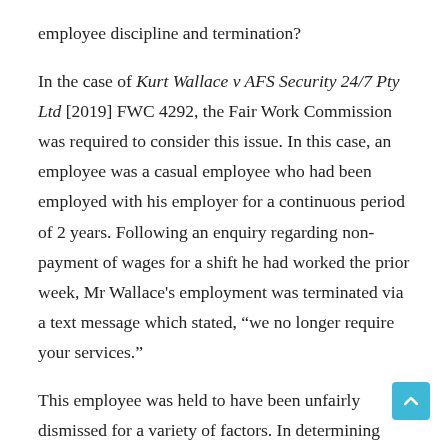employee discipline and termination?
In the case of Kurt Wallace v AFS Security 24/7 Pty Ltd [2019] FWC 4292, the Fair Work Commission was required to consider this issue. In this case, an employee was a casual employee who had been employed with his employer for a continuous period of 2 years. Following an enquiry regarding non-payment of wages for a shift he had worked the prior week, Mr Wallace's employment was terminated via a text message which stated, “we no longer require your services.”
This employee was held to have been unfairly dismissed for a variety of factors. In determining the case,